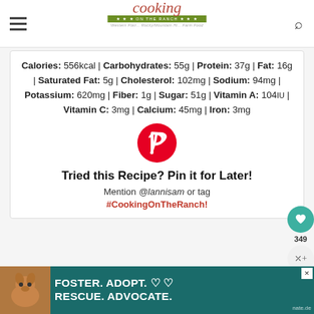Cooking on the Ranch — Western Flair... Rocky/Mountain Hi... Farm Food
Calories: 556kcal | Carbohydrates: 55g | Protein: 37g | Fat: 16g | Saturated Fat: 5g | Cholesterol: 102mg | Sodium: 94mg | Potassium: 620mg | Fiber: 1g | Sugar: 51g | Vitamin A: 104IU | Vitamin C: 3mg | Calcium: 45mg | Iron: 3mg
[Figure (logo): Pinterest circular logo — red circle with white P]
Tried this Recipe? Pin it for Later!
Mention @lannisam or tag
#CookingOnTheRanch!
[Figure (infographic): Foster. Adopt. Rescue. Advocate. advertisement banner with dog photo]